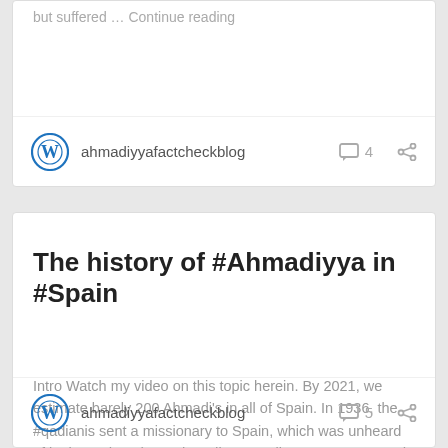but suffered … Continue reading
ahmadiyyafactcheckblog  4
The history of #Ahmadiyya in #Spain
Intro Watch my video on this topic herein. By 2021, we estimate barely 200 Ahmadi's in all of Spain. In 1936, the #qadianis sent a missionary to Spain, which was unheard of in those days (See Ahmadiyya Muslim Mosques around … Continue reading
ahmadiyyafactcheckblog  5